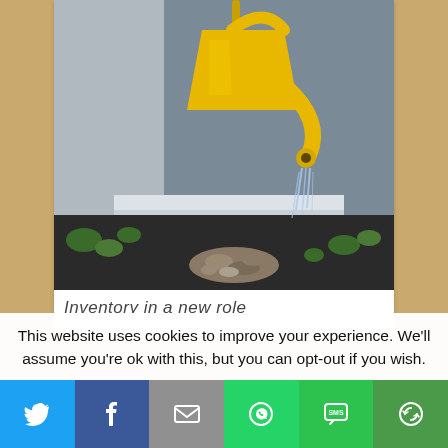[Figure (photo): A yellow watering can mounted on the exterior wall of a house, positioned so it appears to be pouring water down into a garden bed with dark soil, small green plants, and decorative river rocks below.]
Inventory in a new role
This website uses cookies to improve your experience. We'll assume you're ok with this, but you can opt-out if you wish.
[Figure (infographic): Social sharing bar with six buttons: Twitter (blue bird icon), Facebook (dark blue f icon), Email (grey envelope icon), WhatsApp (green phone icon), SMS (green SMS icon), Share (green circular arrows icon).]